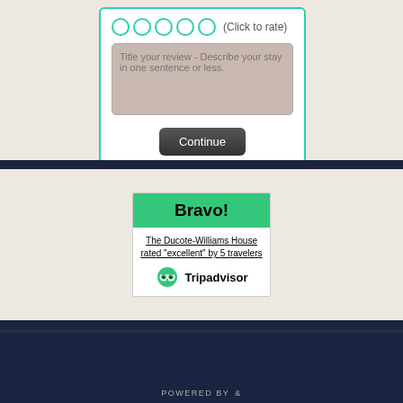[Figure (screenshot): Rating circles (5 empty green circles) with text '(Click to rate)']
Title your review - Describe your stay in one sentence or less.
Continue
Bravo!
The Ducote-Williams House rated "excellent" by 5 travelers
[Figure (logo): Tripadvisor logo with owl icon]
POWERED BY &